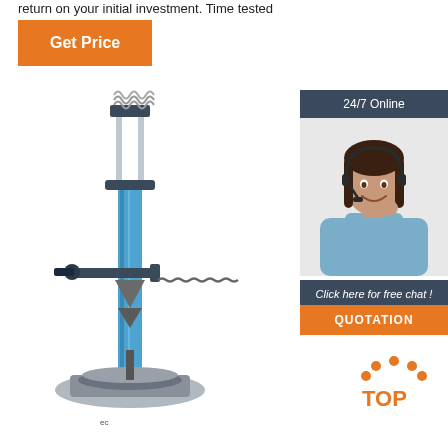return on your initial investment. Time tested design.
Get Price
[Figure (photo): Blue tire changer / wheel servicing machine with vertical column, swing arm, and turntable base. Industrial equipment on white background.]
[Figure (photo): Customer service agent widget: dark banner '24/7 Online', photo of smiling woman with headset, dark banner 'Click here for free chat!', orange 'QUOTATION' button.]
[Figure (infographic): Orange dotted arc 'TOP' logo/button at bottom right of page.]